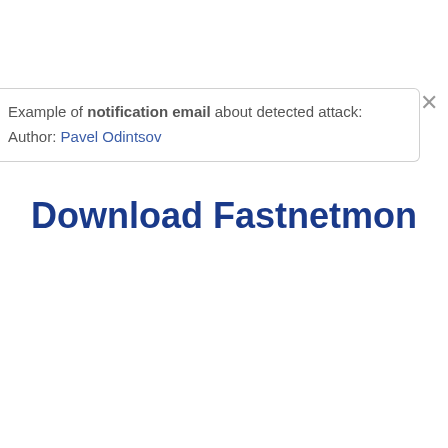Example of notification email about detected attack:
Author: Pavel Odintsov
Download Fastnetmon